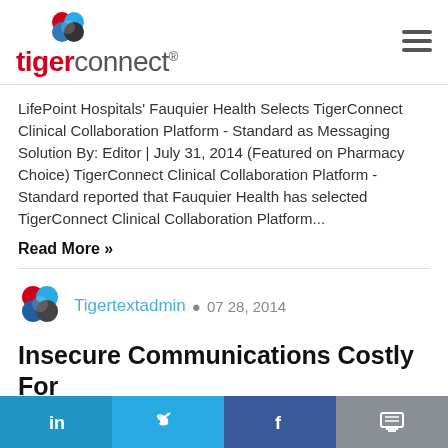tigerconnect
LifePoint Hospitals' Fauquier Health Selects TigerConnect Clinical Collaboration Platform - Standard as Messaging Solution By: Editor | July 31, 2014 (Featured on Pharmacy Choice) TigerConnect Clinical Collaboration Platform - Standard reported that Fauquier Health has selected TigerConnect Clinical Collaboration Platform...
Read More »
Tigertextadmin • 07 28, 2014
Insecure Communications Costly For